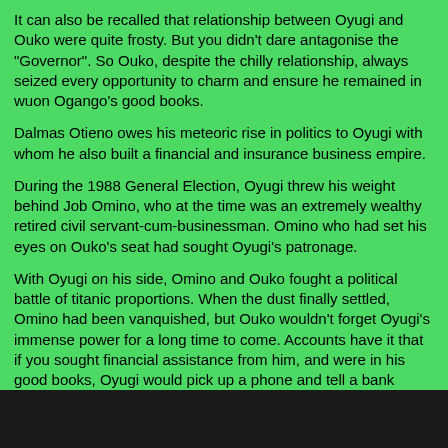It can also be recalled that relationship between Oyugi and Ouko were quite frosty. But you didn't dare antagonise the "Governor". So Ouko, despite the chilly relationship, always seized every opportunity to charm and ensure he remained in wuon Ogango's good books.
Dalmas Otieno owes his meteoric rise in politics to Oyugi with whom he also built a financial and insurance business empire.
During the 1988 General Election, Oyugi threw his weight behind Job Omino, who at the time was an extremely wealthy retired civil servant-cum-businessman. Omino who had set his eyes on Ouko's seat had sought Oyugi's patronage.
With Oyugi on his side, Omino and Ouko fought a political battle of titanic proportions. When the dust finally settled, Omino had been vanquished, but Ouko wouldn't forget Oyugi's immense power for a long time to come. Accounts have it that if you sought financial assistance from him, and were in his good books, Oyugi would pick up a phone and tell a bank manager, "miye maduong'" (give the person a huge loan). The order was promptly carried out.
When he hit the rocky patch with calls that he resign following the murder of Dr Ouko, Luo politicians came to his defence.
Led by then powerful Kanu chairman, Oleo Aringo, the politicians that